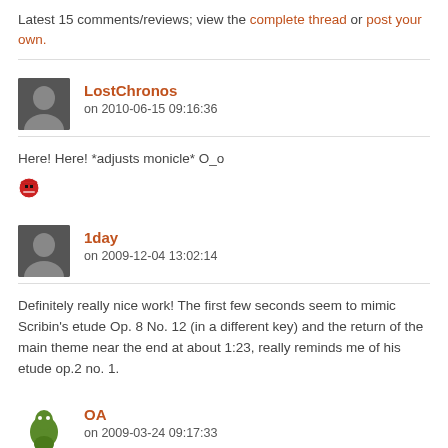Latest 15 comments/reviews; view the complete thread or post your own.
LostChronos
on 2010-06-15 09:16:36
Here! Here! *adjusts monicle* O_o
1day
on 2009-12-04 13:02:14
Definitely really nice work! The first few seconds seem to mimic Scribin's etude Op. 8 No. 12 (in a different key) and the return of the main theme near the end at about 1:23, really reminds me of his etude op.2 no. 1.
OA
on 2009-03-24 09:17:33